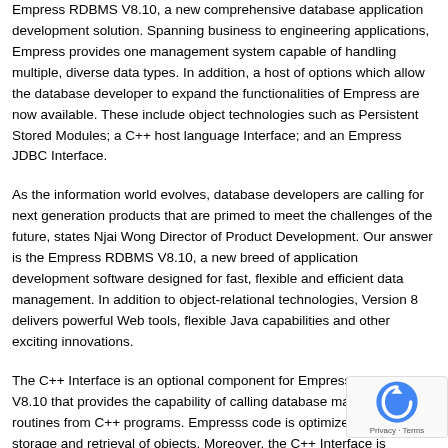Empress RDBMS V8.10, a new comprehensive database application development solution. Spanning business to engineering applications, Empress provides one management system capable of handling multiple, diverse data types. In addition, a host of options which allow the database developer to expand the functionalities of Empress are now available. These include object technologies such as Persistent Stored Modules; a C++ host language Interface; and an Empress JDBC Interface.
As the information world evolves, database developers are calling for next generation products that are primed to meet the challenges of the future, states Njai Wong Director of Product Development. Our answer is the Empress RDBMS V8.10, a new breed of application development software designed for fast, flexible and efficient data management. In addition to object-relational technologies, Version 8 delivers powerful Web tools, flexible Java capabilities and other exciting innovations.
The C++ Interface is an optional component for Empress RDBMS V8.10 that provides the capability of calling database manipulation routines from C++ programs. Empresss code is optimized for fast storage and retrieval of objects. Moreover, the C++ Interface is